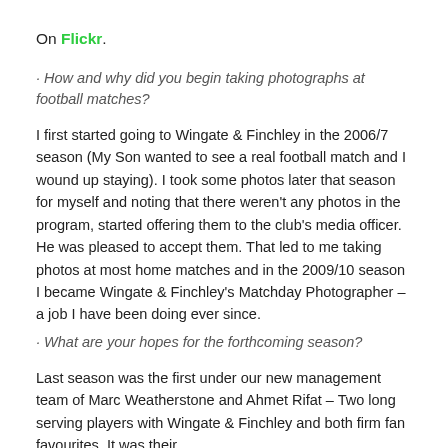On Flickr.
· How and why did you begin taking photographs at football matches?
I first started going to Wingate & Finchley in the 2006/7 season (My Son wanted to see a real football match and I wound up staying). I took some photos later that season for myself and noting that there weren't any photos in the program, started offering them to the club's media officer. He was pleased to accept them. That led to me taking photos at most home matches and in the 2009/10 season I became Wingate & Finchley's Matchday Photographer – a job I have been doing ever since.
· What are your hopes for the forthcoming season?
Last season was the first under our new management team of Marc Weatherstone and Ahmet Rifat – Two long serving players with Wingate & Finchley and both firm fan favourites. It was their